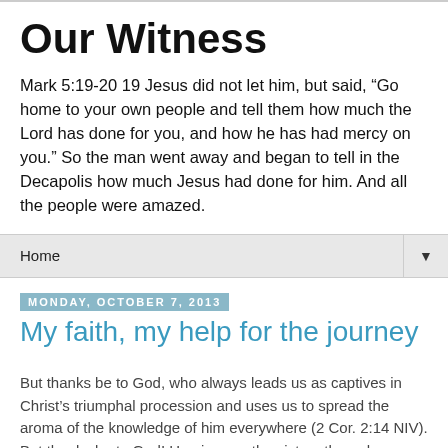Our Witness
Mark 5:19-20 19 Jesus did not let him, but said, “Go home to your own people and tell them how much the Lord has done for you, and how he has had mercy on you.” So the man went away and began to tell in the Decapolis how much Jesus had done for him. And all the people were amazed.
Home
Monday, October 7, 2013
My faith, my help for the journey
But thanks be to God, who always leads us as captives in Christ’s triumphal procession and uses us to spread the aroma of the knowledge of him everywhere (2 Cor. 2:14 NIV).
But thanks be to God! He gives us the victory through our Lord Jesus Christ (1 Cor. 15:57 NIV).